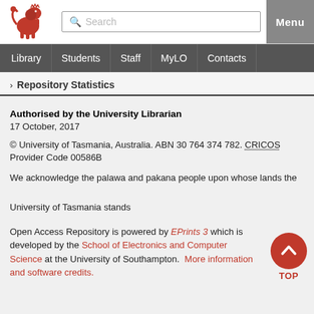[Figure (logo): University of Tasmania red lion logo]
Search | Menu | Library | Students | Staff | MyLO | Contacts
> Repository Statistics
Authorised by the University Librarian
17 October, 2017
© University of Tasmania, Australia. ABN 30 764 374 782. CRICOS Provider Code 00586B
We acknowledge the palawa and pakana people upon whose lands the University of Tasmania stands
Open Access Repository is powered by EPrints 3 which is developed by the School of Electronics and Computer Science at the University of Southampton. More information and software credits.